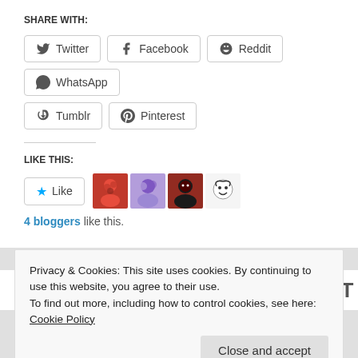SHARE WITH:
Twitter
Facebook
Reddit
WhatsApp
Tumblr
Pinterest
LIKE THIS:
4 bloggers like this.
Privacy & Cookies: This site uses cookies. By continuing to use this website, you agree to their use.
To find out more, including how to control cookies, see here: Cookie Policy
Close and accept